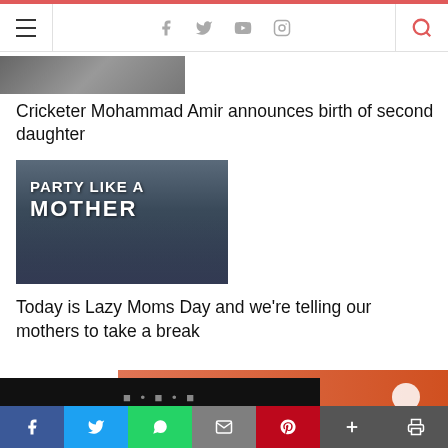Navigation bar with hamburger menu, social icons (Facebook, Twitter, YouTube, Instagram), and search icon
[Figure (photo): Partially visible article thumbnail image at top]
Cricketer Mohammad Amir announces birth of second daughter
[Figure (photo): Movie/event promotional image with text 'PARTY LIKE A MOTHER' showing women celebrating]
Today is Lazy Moms Day and we're telling our mothers to take a break
[Figure (infographic): Bottom banner with orange/salmon gradient background and partially visible black bar with text]
Social share buttons: Facebook, Twitter, WhatsApp, Email, Pinterest, More, Print